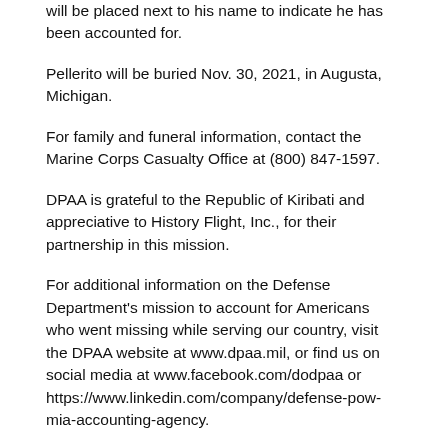will be placed next to his name to indicate he has been accounted for.
Pellerito will be buried Nov. 30, 2021, in Augusta, Michigan.
For family and funeral information, contact the Marine Corps Casualty Office at (800) 847-1597.
DPAA is grateful to the Republic of Kiribati and appreciative to History Flight, Inc., for their partnership in this mission.
For additional information on the Defense Department's mission to account for Americans who went missing while serving our country, visit the DPAA website at www.dpaa.mil, or find us on social media at www.facebook.com/dodpaa or https://www.linkedin.com/company/defense-pow-mia-accounting-agency.